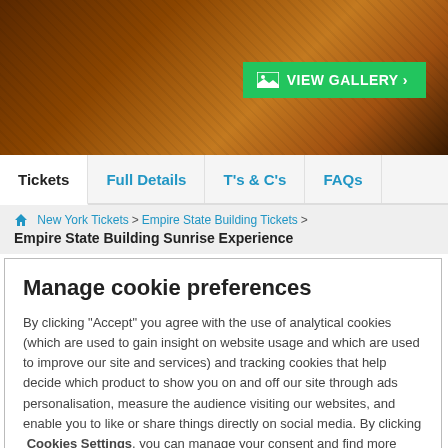[Figure (photo): Hero image of a concert/performance scene with warm brown and amber tones, showing instruments and stage lighting]
VIEW GALLERY >
Tickets | Full Details | T's & C's | FAQs
> New York Tickets > Empire State Building Tickets > Empire State Building Sunrise Experience
Manage cookie preferences
By clicking "Accept" you agree with the use of analytical cookies (which are used to gain insight on website usage and which are used to improve our site and services) and tracking cookies that help decide which product to show you on and off our site through ads personalisation, measure the audience visiting our websites, and enable you to like or share things directly on social media. By clicking Cookies Settings, you can manage your consent and find more information about the cookies we use.
Accept | Decline